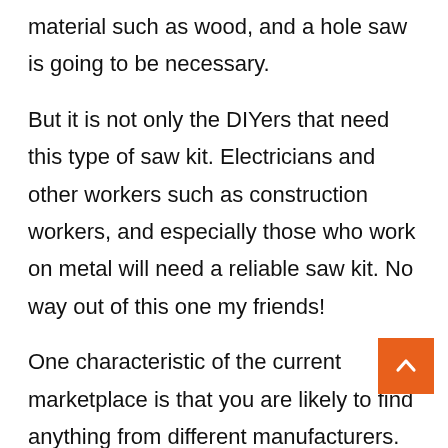material such as wood, and a hole saw is going to be necessary.
But it is not only the DIYers that need this type of saw kit. Electricians and other workers such as construction workers, and especially those who work on metal will need a reliable saw kit. No way out of this one my friends!
One characteristic of the current marketplace is that you are likely to find anything from different manufacturers. The downside of the contemporary